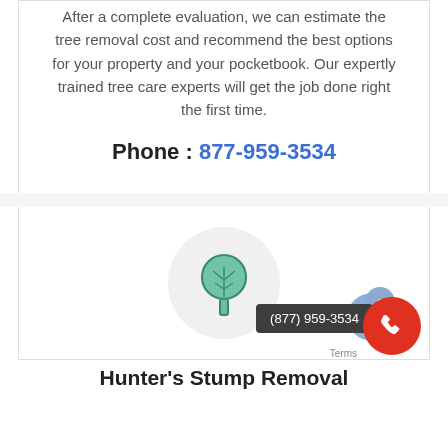After a complete evaluation, we can estimate the tree removal cost and recommend the best options for your property and your pocketbook. Our expertly trained tree care experts will get the job done right the first time.
Phone : 877-959-3534
[Figure (illustration): A circular icon with a tree illustration (teal/green colored tree) inside a light gray circle background.]
Hunter's Stump Removal